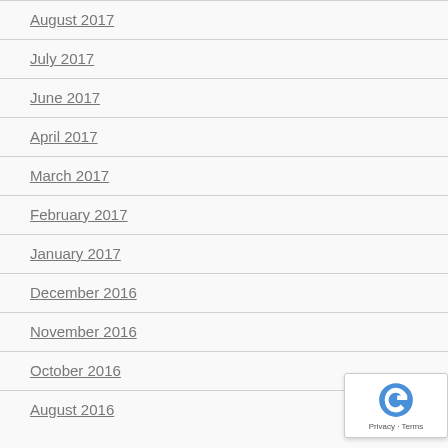August 2017
July 2017
June 2017
April 2017
March 2017
February 2017
January 2017
December 2016
November 2016
October 2016
August 2016